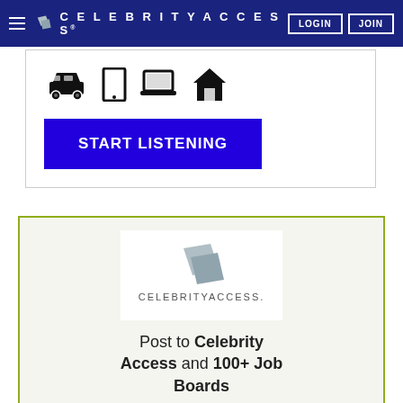CELEBRITYACCESS. LOGIN JOIN
[Figure (screenshot): Device icons: car, tablet, laptop, house — representing listening devices]
START LISTENING
[Figure (logo): CelebrityAccess logo with ticket graphic]
Post to Celebrity Access and 100+ Job Boards with One Submission
Post a Job FREE